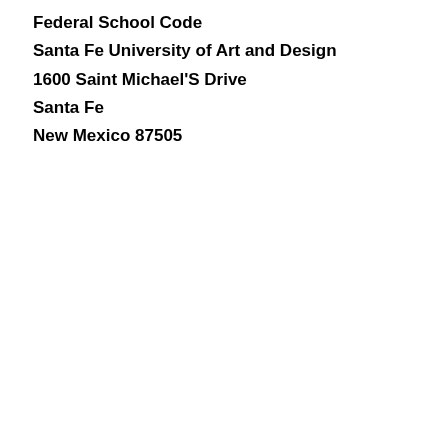Federal School Code
Santa Fe University of Art and Design
1600 Saint Michael'S Drive
Santa Fe
New Mexico 87505